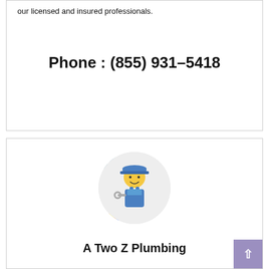our licensed and insured professionals.
Phone : (855) 931-5418
[Figure (illustration): Circular avatar icon of a plumber/mechanic emoji wearing a blue cap and overalls, holding a wrench, on a light gray circular background]
A Two Z Plumbing